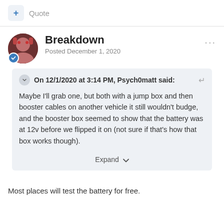+ Quote
Breakdown
Posted December 1, 2020
On 12/1/2020 at 3:14 PM, Psych0matt said:
Maybe I'll grab one, but both with a jump box and then booster cables on another vehicle it still wouldn't budge, and the booster box seemed to show that the battery was at 12v before we flipped it on (not sure if that's how that box works though).
Expand
Most places will test the battery for free.